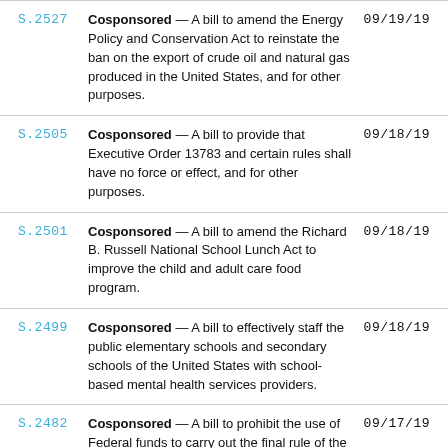S.2527 — Cosponsored — A bill to amend the Energy Policy and Conservation Act to reinstate the ban on the export of crude oil and natural gas produced in the United States, and for other purposes. 09/19/19
S.2505 — Cosponsored — A bill to provide that Executive Order 13783 and certain rules shall have no force or effect, and for other purposes. 09/18/19
S.2501 — Cosponsored — A bill to amend the Richard B. Russell National School Lunch Act to improve the child and adult care food program. 09/18/19
S.2499 — Cosponsored — A bill to effectively staff the public elementary schools and secondary schools of the United States with school-based mental health services providers. 09/18/19
S.2482 — Cosponsored — A bill to prohibit the use of Federal funds to carry out the final rule of the Department of Homeland Security entitled "Inadmissibility on Public Charge Grounds". 09/17/19
S.2485 — Cosponsored — A bill to prohibit Federal agencies from using Government funds to pay for expenses at lodging establishments that are owned by an employ... 09/17/19